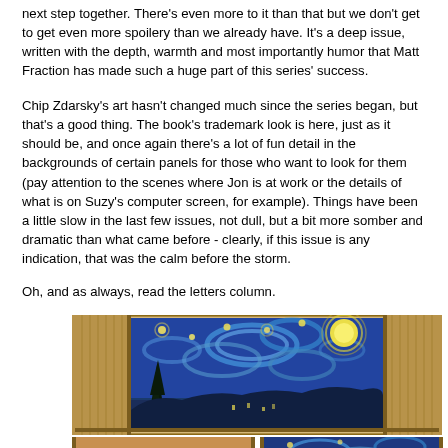next step together. There's even more to it than that but we don't get to get even more spoilery than we already have. It's a deep issue, written with the depth, warmth and most importantly humor that Matt Fraction has made such a huge part of this series' success.
Chip Zdarsky's art hasn't changed much since the series began, but that's a good thing. The book's trademark look is here, just as it should be, and once again there's a lot of fun detail in the backgrounds of certain panels for those who want to look for them (pay attention to the scenes where Jon is at work or the details of what is on Suzy's computer screen, for example). Things have been a little slow in the last few issues, not dull, but a bit more somber and dramatic than what came before - clearly, if this issue is any indication, that was the calm before the storm.
Oh, and as always, read the letters column.
[Figure (illustration): A framed reproduction of Van Gogh's The Starry Night painting, showing swirling blue night sky with stars and a crescent moon over a village with a dark cypress tree in the foreground.]
[Figure (illustration): Bottom left portion of a framed artwork showing a tan/beige background with partial image.]
[Figure (illustration): Bottom right portion showing a blue swirling pattern similar to the Starry Night style.]